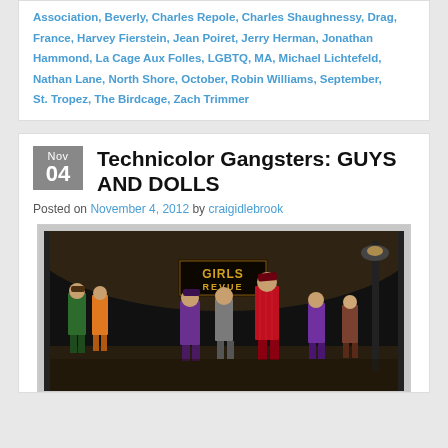Association, Beverly, Charles Repole, Charles Shaughnessy, Drag, France, Harvey Fierstein, Jean Poiret, Jerry Herman, Jonathan Hammond, La Cage Aux Folles, LGBTQ, MA, Michael Lichtefeld, Nathan Lane, North Shore, October, Robin Williams, September, St. Tropez, The Birdcage, Zach Trimmer
Technicolor Gangsters: GUYS AND DOLLS
Posted on November 4, 2012 by craigidlebrook
[Figure (photo): Theater stage photo showing actors in colorful zoot suits performing in Guys and Dolls. A sign reading 'GIRLS REVUE' is visible in the background. Actors wear green, orange, purple, red pinstripe, and gray suits.]